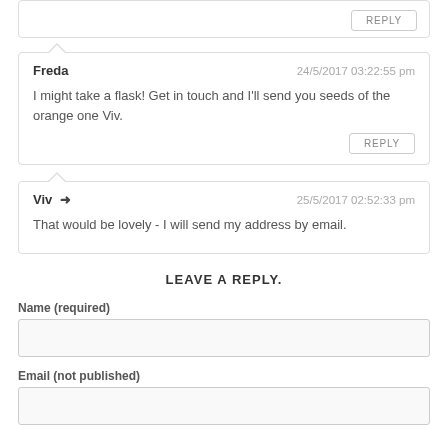REPLY (partial top box)
Freda — 24/5/2017 03:22:55 pm
I might take a flask! Get in touch and I'll send you seeds of the orange one Viv.
REPLY
Viv → 25/5/2017 02:52:33 pm
That would be lovely - I will send my address by email.
LEAVE A REPLY.
Name (required)
Email (not published)